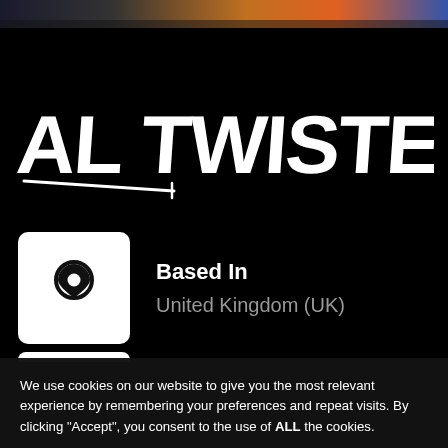[Figure (illustration): Colorful banner image at top with abstract graffiti/art style colors (orange, blue, purple)]
AL TWISTED
Based In
United Kingdom (UK)
[Figure (illustration): Partially visible white rounded box at bottom of black section]
We use cookies on our website to give you the most relevant experience by remembering your preferences and repeat visits. By clicking “Accept”, you consent to the use of ALL the cookies.
Cookie settings
ACCEPT